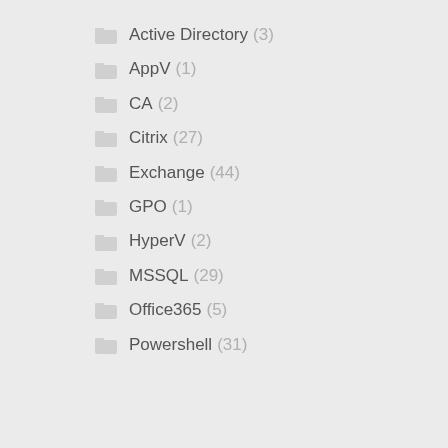Active Directory (3)
AppV (1)
CA (2)
Citrix (27)
Exchange (44)
GPO (1)
HyperV (2)
MSSQL (29)
Office365 (5)
Powershell (31)